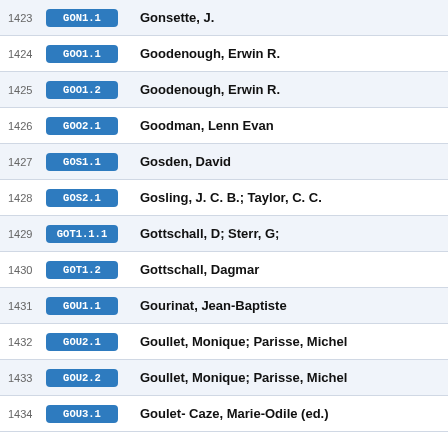| # | Code | Name |
| --- | --- | --- |
| 1423 | GON1.1 | Gonsette, J. |
| 1424 | GOO1.1 | Goodenough, Erwin R. |
| 1425 | GOO1.2 | Goodenough, Erwin R. |
| 1426 | GOO2.1 | Goodman, Lenn Evan |
| 1427 | GOS1.1 | Gosden, David |
| 1428 | GOS2.1 | Gosling, J. C. B.; Taylor, C. C. |
| 1429 | GOT1.1.1 | Gottschall, D; Sterr, G; |
| 1430 | GOT1.2 | Gottschall, Dagmar |
| 1431 | GOU1.1 | Gourinat, Jean-Baptiste |
| 1432 | GOU2.1 | Goullet, Monique; Parisse, Michel |
| 1433 | GOU2.2 | Goullet, Monique; Parisse, Michel |
| 1434 | GOU3.1 | Goulet- Caze, Marie-Odile (ed.) |